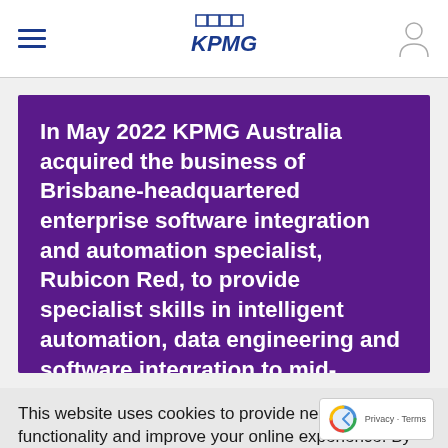KPMG navigation bar with hamburger menu and user icon
[Figure (logo): KPMG logo with grid icon and italic KPMG text in dark blue]
In May 2022 KPMG Australia acquired the business of Brisbane-headquartered enterprise software integration and automation specialist, Rubicon Red, to provide specialist skills in intelligent automation, data engineering and software integration to mid-market organisations
This website uses cookies to provide necessary site functionality and improve your online experience. By using this website, you agree to the use of cookies as outlined in KPMG's online privacy statement.